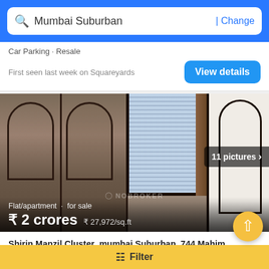Mumbai Suburban | Change
Car Parking · Resale
First seen last week on Squareyards
[Figure (photo): Interior room photo showing wardrobes on left, a window in center with blinds, and a decorative arch door on the right. Overlay text shows: Flat/apartment · for sale, ₹ 2 crores, ₹ 27,972/sq.ft. Badge shows 11 pictures.]
Shirin Manzil,Cluster_mumbai Suburban_744 Mahim Shardha, MAHIRA SHRADDHA, Mahim West, Mahim, Mumbai, Maharashtra 400016,India,Mahim (West),mumbai
Filter